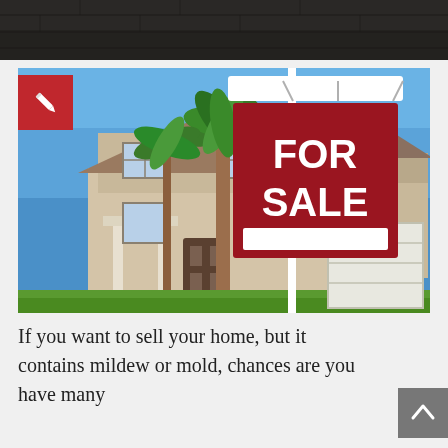[Figure (photo): Dark textured banner at the top of the page, appearing to be a dark stone or brick wall]
[Figure (photo): A suburban house with a 'FOR SALE' real estate sign in the foreground. The house is a two-story beige stucco home with palm trees, a blue sky background, a white garage door visible on the right, and a red 'FOR SALE' sign mounted on a white post in the center-right of the image.]
If you want to sell your home, but it contains mildew or mold, chances are you have many